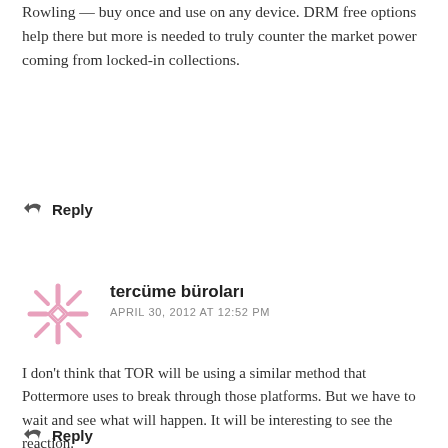Rowling — buy once and use on any device. DRM free options help there but more is needed to truly counter the market power coming from locked-in collections.
↩ Reply
tercüme büroları
APRIL 30, 2012 AT 12:52 PM
I don't think that TOR will be using a similar method that Pottermore uses to break through those platforms. But we have to wait and see what will happen. It will be interesting to see the reaction.
↩ Reply